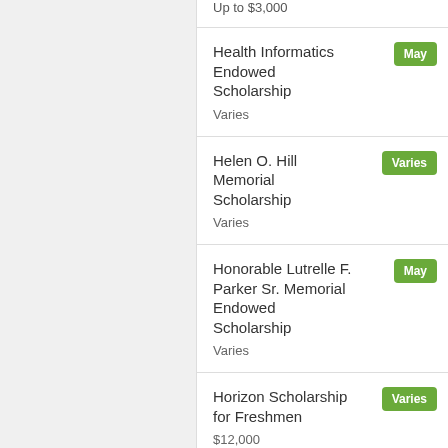Up to $3,000
Health Informatics Endowed Scholarship | May | Varies
Helen O. Hill Memorial Scholarship | Varies | Varies
Honorable Lutrelle F. Parker Sr. Memorial Endowed Scholarship | May | Varies
Horizon Scholarship for Freshmen | Varies | $12,000
Interstate Van Lines | May